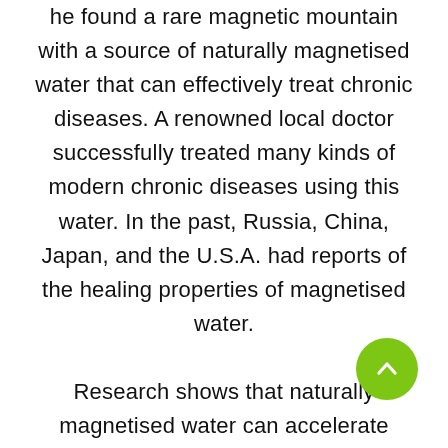he found a rare magnetic mountain with a source of naturally magnetised water that can effectively treat chronic diseases. A renowned local doctor successfully treated many kinds of modern chronic diseases using this water. In the past, Russia, China, Japan, and the U.S.A. had reports of the healing properties of magnetised water.

Research shows that naturally magnetised water can accelerate cellular absorption of water, supplement minerals in the body, protect cells maintain normal blood circulation and pH levels, discharge pollutants in the